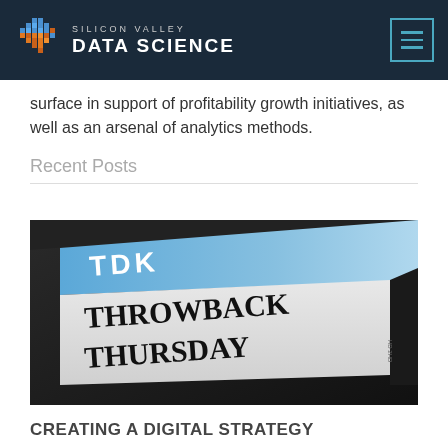SILICON VALLEY DATA SCIENCE
surface in support of profitability growth initiatives, as well as an arsenal of analytics methods.
Recent Posts
[Figure (photo): A TDK 3.5-inch floppy disk with a label handwritten in black marker reading 'THROWBACK THURSDAY']
CREATING A DIGITAL STRATEGY